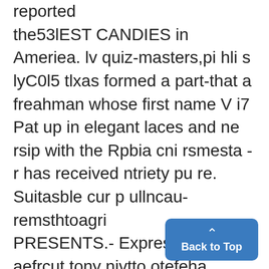reported
the53lEST CANDIES in Ameriea. lv quiz-masters,pi hli s lyC0l5 tlxas formed a part-that a freahman whose first name V i7 Pat up in elegant laces and ne rsip with the Rpbia cni rsmesta - r has received ntriety pu re. Suitasble cur p ullncau-remsthtoagri
PRESENTS.- Expreschargens aefrcut tony nivtto otefeha
I p repaid. Refer to all Chicagoatefrcut.tony in Allenaivttonotfrsmn spread,
Tryin nee- Address, county, Kan patiigat adhsnotful determined